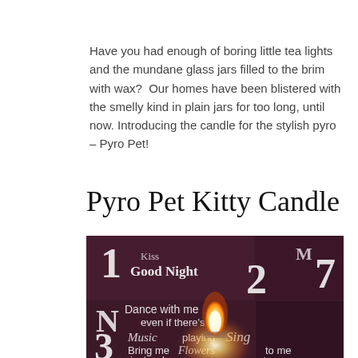Have you had enough of boring little tea lights and the mundane glass jars filled to the brim with wax?  Our homes have been blistered with the smelly kind in plain jars for too long, until now. Introducing the candle for the stylish pyro – Pyro Pet!
Pyro Pet Kitty Candle
[Figure (photo): A dark atmospheric photo showing a candle flame in the foreground, with a background featuring decorative text/typography including phrases like 'Good Night', 'Dance with me even if there’s Music playing', 'Sing', 'Bring me Flowers just because', 'to me because to my ears', with large numbers 1, 2, 3, 7 visible.]